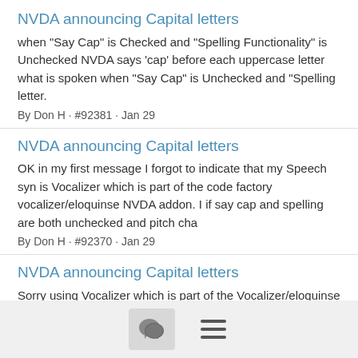NVDA announcing Capital letters
when "Say Cap" is Checked and "Spelling Functionality" is Unchecked NVDA says 'cap' before each uppercase letter what is spoken when "Say Cap" is Unchecked and "Spelling letter.
By Don H · #92381 · Jan 29
NVDA announcing Capital letters
OK in my first message I forgot to indicate that my Speech syn is Vocalizer which is part of the code factory vocalizer/eloquinse NVDA addon. I if say cap and spelling are both unchecked and pitch cha
By Don H · #92370 · Jan 29
NVDA announcing Capital letters
Sorry using Vocalizer which is part of the Vocalizer/eloquinse NVDA addon
By Don H · #92362 · Jan 29
NVDA announcing Capital letters
[Figure (infographic): Bottom navigation bar with a chat bubble icon button and a hamburger menu icon]